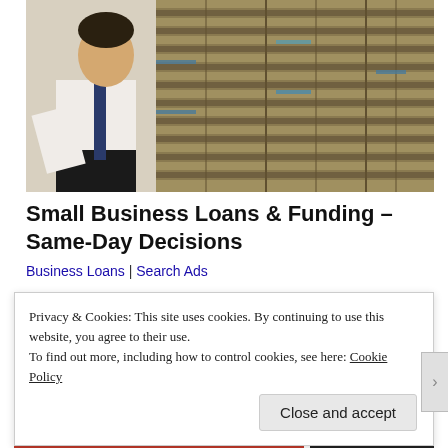[Figure (photo): A man in a white shirt and dark tie standing next to large stacks of bundled US dollar bills]
Small Business Loans & Funding – Same-Day Decisions
Business Loans | Search Ads
Privacy & Cookies: This site uses cookies. By continuing to use this website, you agree to their use.
To find out more, including how to control cookies, see here: Cookie Policy
Close and accept